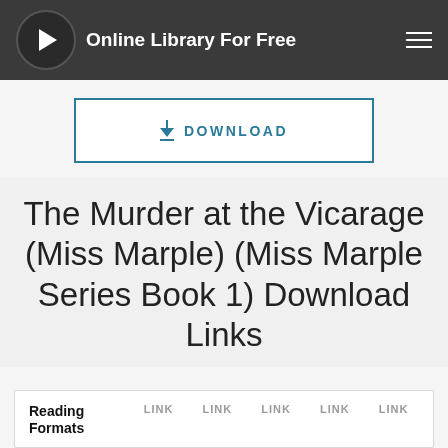Online Library For Free
[Figure (other): Download button with download icon and text DOWNLOAD]
The Murder at the Vicarage (Miss Marple) (Miss Marple Series Book 1) Download Links
| Reading Formats | LINK | LINK | LINK | LINK | LINK |
| --- | --- | --- | --- | --- | --- |